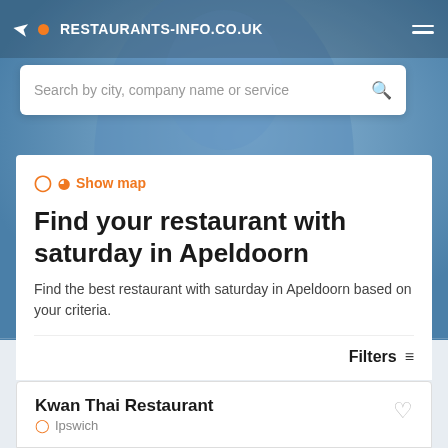RESTAURANTS-INFO.CO.UK
[Figure (screenshot): Website header with search bar on a blue background photo of a person in a blue shirt]
Search by city, company name or service
Show map
Find your restaurant with saturday in Apeldoorn
Find the best restaurant with saturday in Apeldoorn based on your criteria.
Filters
Kwan Thai Restaurant  Ipswich